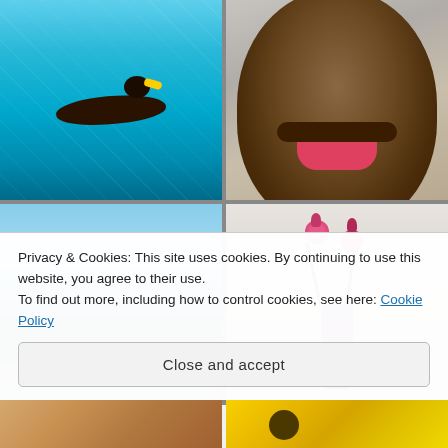[Figure (photo): Dog swimming underwater in a clear blue swimming pool, seen from above through the water]
[Figure (photo): Close-up portrait of a brindle and white Staffordshire Bull Terrier dog smiling with tongue out]
[Figure (photo): Scenic harbor view with boats moored in calm water, green hills and small buildings in background under blue sky]
[Figure (photo): Pink roses in a dark purple vase against a neutral background]
Privacy & Cookies: This site uses cookies. By continuing to use this website, you agree to their use.
To find out more, including how to control cookies, see here: Cookie Policy
[Figure (photo): Partial view of two photos at the bottom: left showing a person/animal, right showing sunflowers]